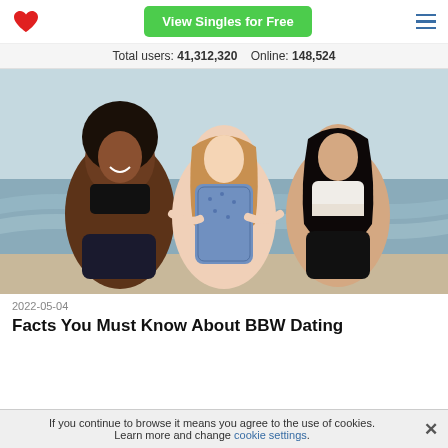View Singles for Free
Total users: 41,312,320   Online: 148,524
[Figure (photo): Three plus-size women in swimwear walking together on a beach, smiling and laughing.]
2022-05-04
Facts You Must Know About BBW Dating
If you continue to browse it means you agree to the use of cookies. Learn more and change cookie settings.